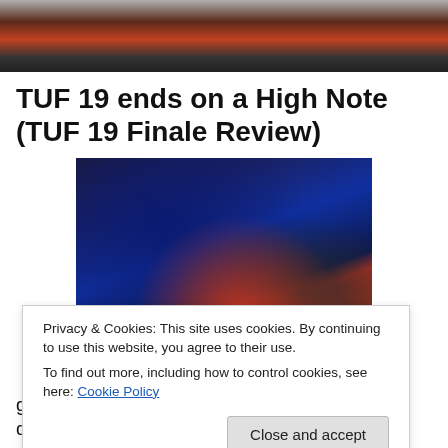[Figure (photo): Top cropped photo showing people in a sports/MMA arena setting, partially visible at top of page]
TUF 19 ends on a High Note (TUF 19 Finale Review)
[Figure (photo): MMA fighter in red shirt raising his fist/finger in celebration inside an arena, with another person in black behind him]
Privacy & Cookies: This site uses cookies. By continuing to use this website, you agree to their use.
To find out more, including how to control cookies, see here: Cookie Policy
growth of the sport. That would be expressed during